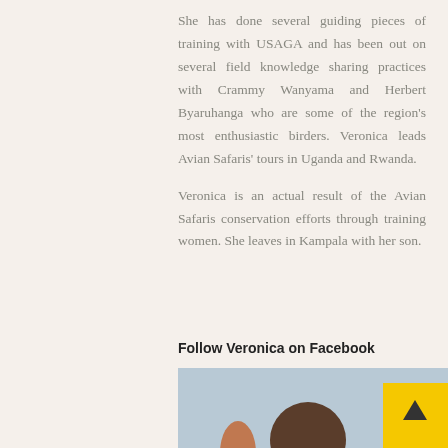She has done several guiding pieces of training with USAGA and has been out on several field knowledge sharing practices with Crammy Wanyama and Herbert Byaruhanga who are some of the region's most enthusiastic birders. Veronica leads Avian Safaris' tours in Uganda and Rwanda.

Veronica is an actual result of the Avian Safaris conservation efforts through training women. She leaves in Kampala with her son.
Follow Veronica on Facebook
[Figure (photo): Photo of a person (partially visible head and hand) against a light blue-grey background, with a yellow scroll-to-top button in the bottom right corner]